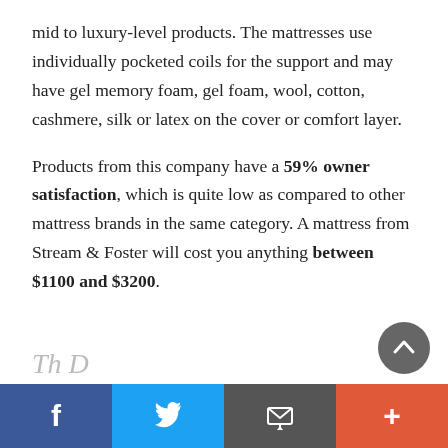mid to luxury-level products. The mattresses use individually pocketed coils for the support and may have gel memory foam, gel foam, wool, cotton, cashmere, silk or latex on the cover or comfort layer.
Products from this company have a 59% owner satisfaction, which is quite low as compared to other mattress brands in the same category. A mattress from Stream & Foster will cost you anything between $1100 and $3200.